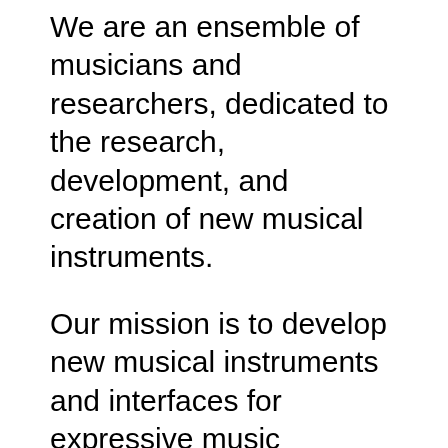We are an ensemble of musicians and researchers, dedicated to the research, development, and creation of new musical instruments.
Our mission is to develop new musical instruments and interfaces for expressive music performance. Our goal is to push the limits of real time expression in computer music systems, and to enhance computer music performance by making it more intuitive, more physical and more interactive.
We are especially interested in the design of new interfaces for human/computer interaction through gesture recognition, motion tracking and novel